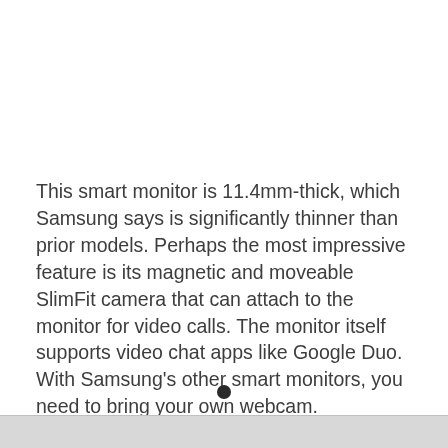This smart monitor is 11.4mm-thick, which Samsung says is significantly thinner than prior models. Perhaps the most impressive feature is its magnetic and moveable SlimFit camera that can attach to the monitor for video calls. The monitor itself supports video chat apps like Google Duo. With Samsung's other smart monitors, you need to bring your own webcam.
[Figure (photo): Bottom portion of a monitor showing a small circular webcam/camera at the top edge of the monitor bezel, with a horizontal line representing the top edge of the monitor screen.]